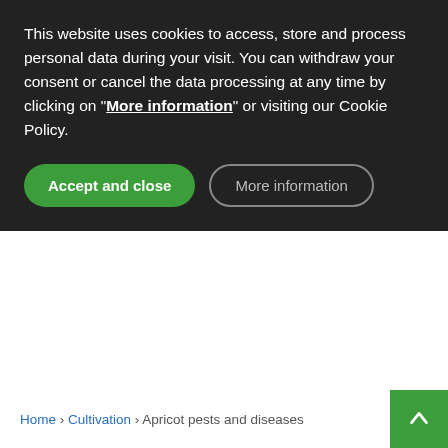This website uses cookies to access, store and process personal data during your visit. You can withdraw your consent or cancel the data processing at any time by clicking on "More information" or visiting our Cookie Policy.
Accept and close
More information
Home › Cultivation › Apricot pests and diseases